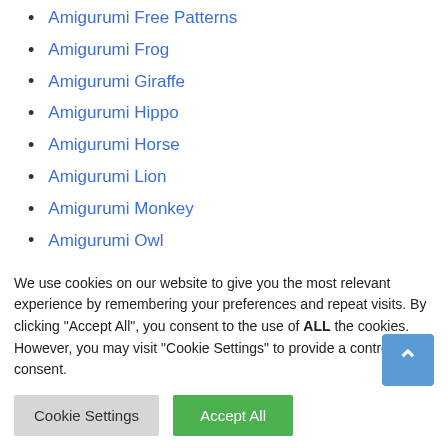Amigurumi Free Patterns
Amigurumi Frog
Amigurumi Giraffe
Amigurumi Hippo
Amigurumi Horse
Amigurumi Lion
Amigurumi Monkey
Amigurumi Owl
Amigurumi Patterns
Amigurumi Unicorn
We use cookies on our website to give you the most relevant experience by remembering your preferences and repeat visits. By clicking “Accept All”, you consent to the use of ALL the cookies. However, you may visit “Cookie Settings” to provide a controlled consent.